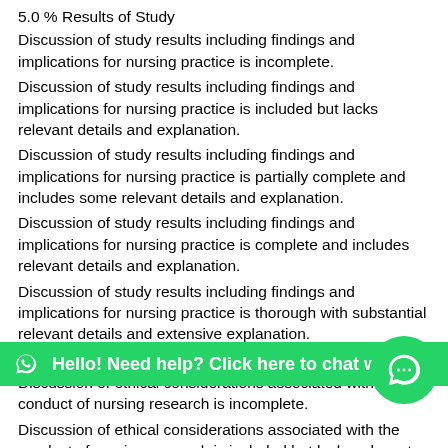5.0 % Results of Study
Discussion of study results including findings and implications for nursing practice is incomplete.
Discussion of study results including findings and implications for nursing practice is included but lacks relevant details and explanation.
Discussion of study results including findings and implications for nursing practice is partially complete and includes some relevant details and explanation.
Discussion of study results including findings and implications for nursing practice is complete and includes relevant details and explanation.
Discussion of study results including findings and implications for nursing practice is thorough with substantial relevant details and extensive explanation.
5.0 % Ethical Considerations
Discussion of ethical considerations associated with the conduct of nursing research is incomplete.
Discussion of ethical considerations associated with the conduct of nursing research is included but lacks relevant details and explanation.
Discussion of ethical considerations associated with the conduct of nursing research is partially complete and includes some relevant details and explanation.